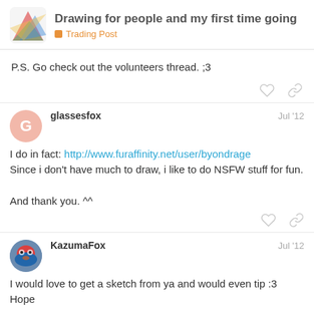Drawing for people and my first time going | Trading Post
P.S. Go check out the volunteers thread. ;3
glassesfox Jul '12
I do in fact: http://www.furaffinity.net/user/byondrage
Since i don't have much to draw, i like to do NSFW stuff for fun.

And thank you. ^^
KazumaFox Jul '12
I would love to get a sketch from ya and would even tip :3 Hope